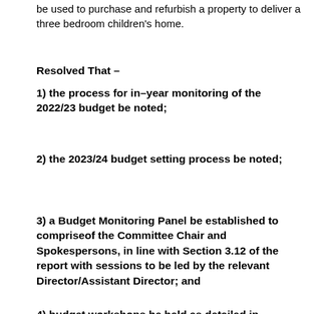be used to purchase and refurbish a property to deliver a three bedroom children's home.
Resolved That –
1)  the process for in–year monitoring of the 2022/23 budget be noted;
2)  the 2023/24 budget setting process be noted;
3)  a Budget Monitoring Panel be established to compriseof the Committee Chair and Spokespersons, in line with Section 3.12 of the report with sessions to be led by the relevant Director/Assistant Director; and
4)  budget workshops be held as detailed in